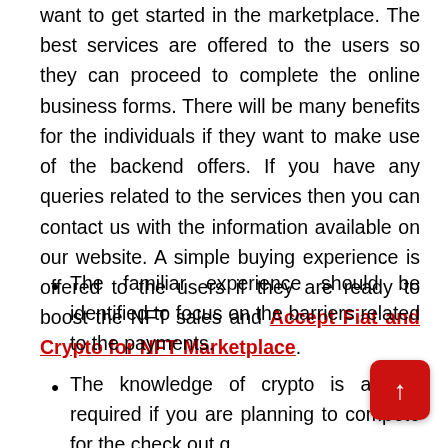want to get started in the marketplace. The best services are offered to the users so they can proceed to complete the online business forms. There will be many benefits for the individuals if they want to make use of the backend offers. If you have any queries related to the services then you can contact us with the information available on our website. A simple buying experience is offered to the users if they are ready to boost the NFT sales and Accept Fiat and Crypto for NFT Marketplace.
The familiar experience should be identified to focus on the barriers related to the payments.
The knowledge of crypto is always required if you are planning to compete for the check out q
The credentials should be provided by the users if they are ready to create an integrated wallet.